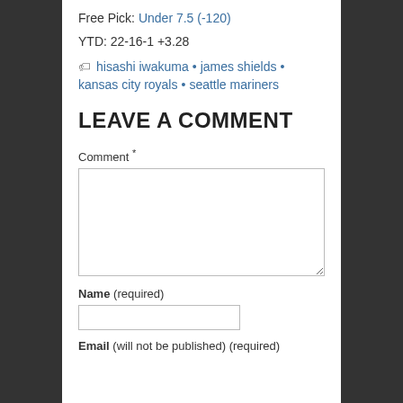Free Pick: Under 7.5 (-120)
YTD: 22-16-1 +3.28
hisashi iwakuma • james shields • kansas city royals • seattle mariners
LEAVE A COMMENT
Comment *
Name (required)
Email (will not be published) (required)